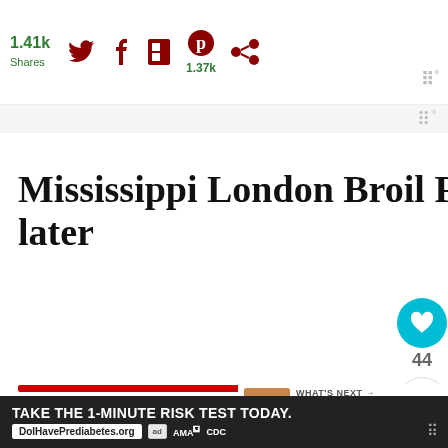1.41k Shares
Mississippi London Broil Pot Roast Pin for later
44
[Figure (screenshot): WHAT'S NEXT arrow. Carrot Cake Tastes Like ... with food image thumbnail]
[Figure (logo): MISSISSIPPI text in large green serif font]
TAKE THE 1-MINUTE RISK TEST TODAY. DoIHavePrediabetes.org ad AMA CDC